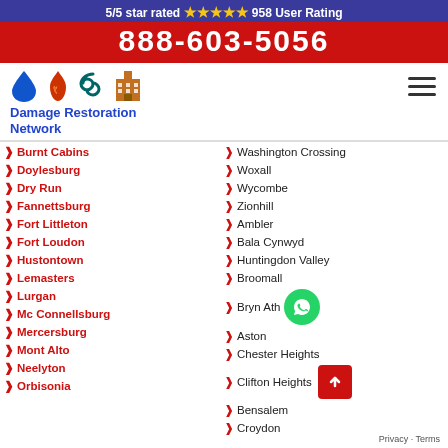5/5 star rated ⭐⭐⭐⭐⭐ 958 User Rating
888-603-5056
[Figure (logo): Damage Restoration Network logo with water drop, fire, hurricane, and building icons]
Burnt Cabins
Doylesburg
Dry Run
Fannettsburg
Fort Littleton
Fort Loudon
Hustontown
Lemasters
Lurgan
Mc Connellsburg
Mercersburg
Mont Alto
Neelyton
Orbisonia
Washington Crossing
Woxall
Wycombe
Zionhill
Ambler
Bala Cynwyd
Huntingdon Valley
Broomall
Bryn Ath…
Aston
Chester Heights
Clifton Heights
Bensalem
Croydon